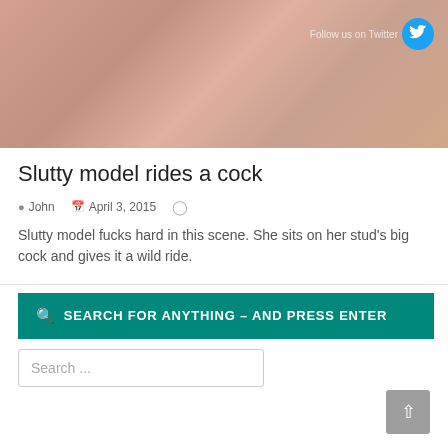[Figure (photo): Cropped adult content photograph with Twitter follow overlay badge in top right corner]
Slutty model rides a cock
John   April 3, 2015
Slutty model fucks hard in this scene. She sits on her stud's big cock and gives it a wild ride.
🔍 SEARCH FOR ANYTHING – AND PRESS ENTER
Search ...